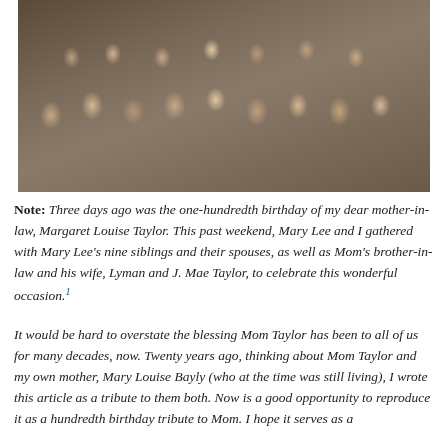[Figure (photo): Group photo of approximately 20 people posed together indoors, in two rows, against a dark wood-paneled background. The group includes men and women of older adult age, casually dressed.]
Note: Three days ago was the one-hundredth birthday of my dear mother-in-law, Margaret Louise Taylor. This past weekend, Mary Lee and I gathered with Mary Lee's nine siblings and their spouses, as well as Mom's brother-in-law and his wife, Lyman and J. Mae Taylor, to celebrate this wonderful occasion.1
It would be hard to overstate the blessing Mom Taylor has been to all of us for many decades, now. Twenty years ago, thinking about Mom Taylor and my own mother, Mary Louise Bayly (who at the time was still living), I wrote this article as a tribute to them both. Now is a good opportunity to reproduce it as a hundredth birthday tribute to Mom. I hope it serves as a